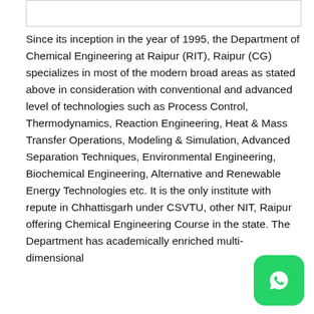[Figure (other): Empty white rectangle bar at the top of the page]
Since its inception in the year of 1995, the Department of Chemical Engineering at Raipur (RIT), Raipur (CG) specializes in most of the modern broad areas as stated above in consideration with conventional and advanced level of technologies such as Process Control, Thermodynamics, Reaction Engineering, Heat & Mass Transfer Operations, Modeling & Simulation, Advanced Separation Techniques, Environmental Engineering, Biochemical Engineering, Alternative and Renewable Energy Technologies etc. It is the only institute with repute in Chhattisgarh under CSVTU, other NIT, Raipur offering Chemical Engineering Course in the state. The Department has academically enriched multi-dimensional
[Figure (logo): WhatsApp logo button — green rounded square with white phone handset icon]